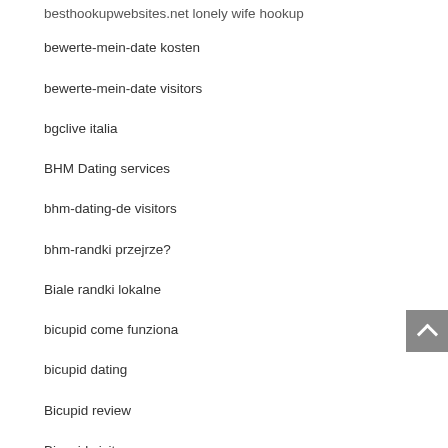besthookupwebsites.net lonely wife hookup
bewerte-mein-date kosten
bewerte-mein-date visitors
bgclive italia
BHM Dating services
bhm-dating-de visitors
bhm-randki przejrze?
Biale randki lokalne
bicupid come funziona
bicupid dating
Bicupid review
Bicupid visitors
bicupid-recenze Recenze
biggercity dating
biggercity Kontaktborse